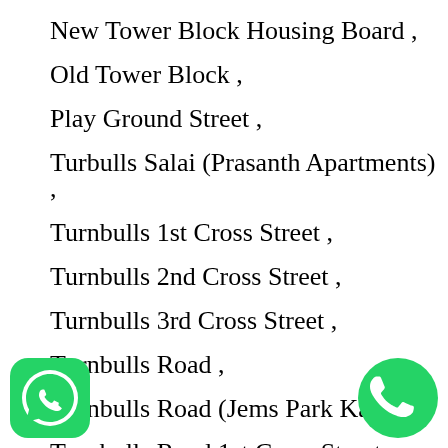New Tower Block Housing Board ,
Old Tower Block ,
Play Ground Street ,
Turbulls Salai (Prasanth Apartments) ,
Turnbulls 1st Cross Street ,
Turnbulls 2nd Cross Street ,
Turnbulls 3rd Cross Street ,
Turnbulls Road ,
Turnbulls Road (Jems Park Kastil) ,
Turnbulls Road 1st Cross Street (Deepa rtmant) ,